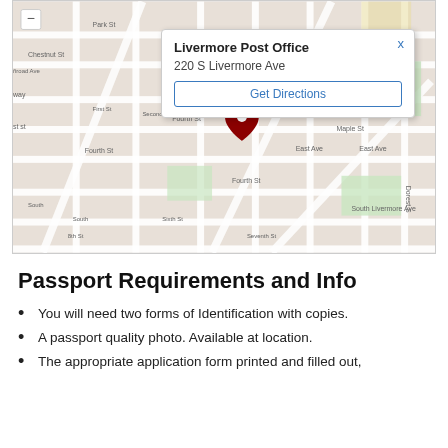[Figure (map): Google Maps screenshot showing Livermore Post Office location at 220 S Livermore Ave with a popup info box and a red map pin marker on the map.]
Passport Requirements and Info
You will need two forms of Identification with copies.
A passport quality photo. Available at location.
The appropriate application form printed and filled out, and other required forms may apply.